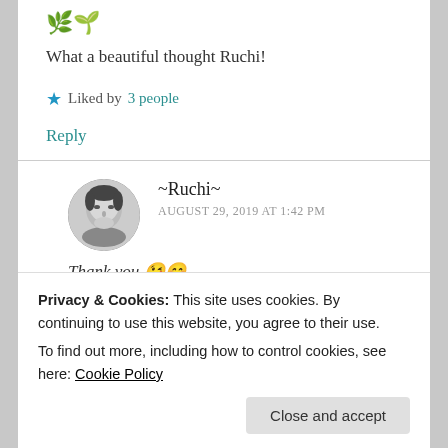[Figure (illustration): Green emoji/icon characters at top]
What a beautiful thought Ruchi!
★ Liked by 3 people
Reply
[Figure (photo): Black and white circular avatar photo of a person looking down]
~Ruchi~
AUGUST 29, 2019 AT 1:42 PM
Thank you 😘😊
Privacy & Cookies: This site uses cookies. By continuing to use this website, you agree to their use.
To find out more, including how to control cookies, see here: Cookie Policy
Close and accept